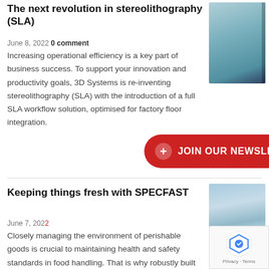The next revolution in stereolithography (SLA)
June 8, 2022 0 comment
Increasing operational efficiency is a key part of business success. To support your innovation and productivity goals, 3D Systems is re-inventing stereolithography (SLA) with the introduction of a full SLA workflow solution, optimised for factory floor integration.
[Figure (photo): Close-up photo of a stereolithography machine component, teal/blue tones]
Keeping things fresh with SPECFAST
June 7, 2022
Closely m... environment of perishable goods is crucial to maintaining health and safety standards in food handling. That is why robustly built and maintained cool rooms
[Figure (photo): Photo of cold storage/refrigeration equipment with sky background]
+ JOIN OUR NEWSLETTER